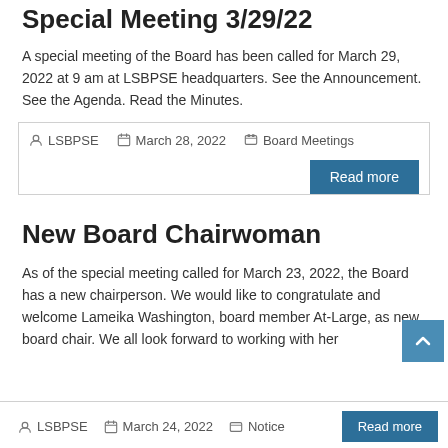Special Meeting 3/29/22
A special meeting of the Board has been called for March 29, 2022 at 9 am at LSBPSE headquarters. See the Announcement. See the Agenda. Read the Minutes.
| LSBPSE | March 28, 2022 | Board Meetings | Read more |
New Board Chairwoman
As of the special meeting called for March 23, 2022, the Board has a new chairperson. We would like to congratulate and welcome Lameika Washington, board member At-Large, as new board chair. We all look forward to working with her
| LSBPSE | March 24, 2022 | Notice | Read more |